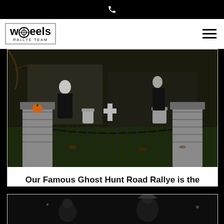[phone icon]
[Figure (logo): Wheels Rallye Team logo in a bordered box with stylized text and small car icons]
[Figure (photo): A Halloween-decorated front yard at night with tombstones, crosses, iron fence, stone pillars, and costumed figures resembling ghosts and grim reapers]
Our Famous Ghost Hunt Road Rallye is the most fun you can have to kick off the Halloween Holday.
[Figure (photo): Partial view of a second photo showing people at a nighttime Halloween event]